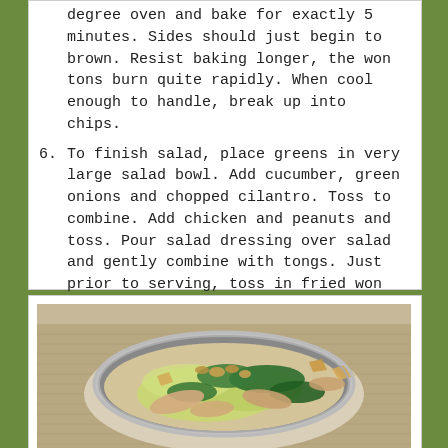degree oven and bake for exactly 5 minutes. Sides should just begin to brown. Resist baking longer, the won tons burn quite rapidly. When cool enough to handle, break up into chips.
6. To finish salad, place greens in very large salad bowl. Add cucumber, green onions and chopped cilantro. Toss to combine. Add chicken and peanuts and toss. Pour salad dressing over salad and gently combine with tongs. Just prior to serving, toss in fried won tons.
[Figure (photo): A large silver bowl filled with a green salad containing lettuce, dark green leafy greens, sliced chicken, peanuts, and fried wonton chips, placed on a woven placemat.]